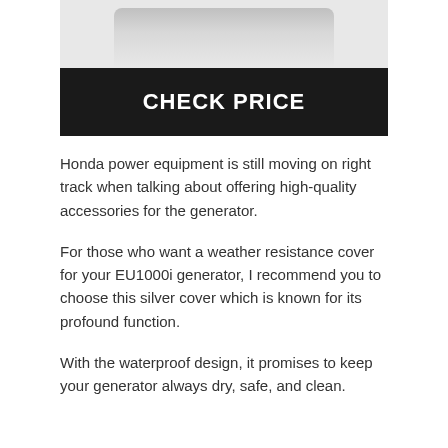[Figure (photo): Partial view of a Honda EU1000i generator silver cover product image, cropped at the top]
CHECK PRICE
Honda power equipment is still moving on right track when talking about offering high-quality accessories for the generator.
For those who want a weather resistance cover for your EU1000i generator, I recommend you to choose this silver cover which is known for its profound function.
With the waterproof design, it promises to keep your generator always dry, safe, and clean.